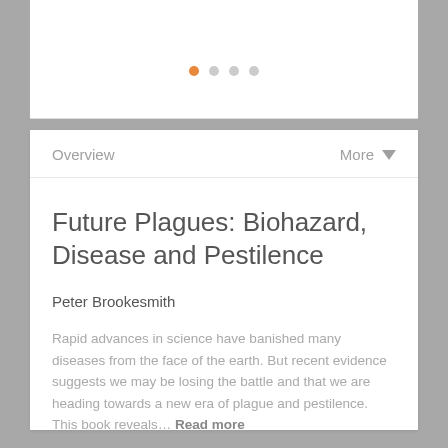[Figure (other): Pagination dots: one orange active dot followed by three grey inactive dots]
Overview    More ▼
Future Plagues: Biohazard, Disease and Pestilence
Peter Brookesmith
Rapid advances in science have banished many diseases from the face of the earth. But recent evidence suggests we may be losing the battle and that we are heading towards a new era of plague and pestilence. This book reveals… Read more
Buy now: